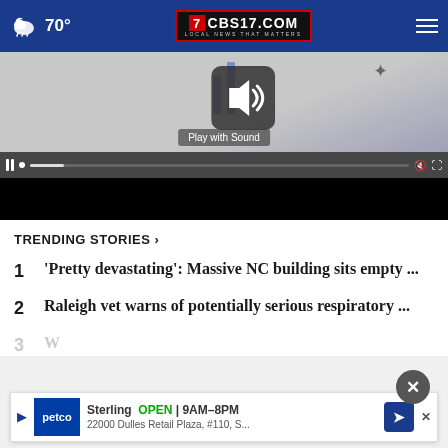70° CBS17.COM LOCAL NEWS THAT MATTERS
[Figure (screenshot): Video player with speaker/sound icon, 'Play with Sound' label, playback controls bar, and black letterbox area below]
TRENDING STORIES ›
1  'Pretty devastating': Massive NC building sits empty ...
2  Raleigh vet warns of potentially serious respiratory ...
3  [partially visible text]
[Figure (screenshot): Advertisement banner for Petco Sterling location: OPEN 9AM-8PM, 22000 Dulles Retail Plaza, #110, S...]